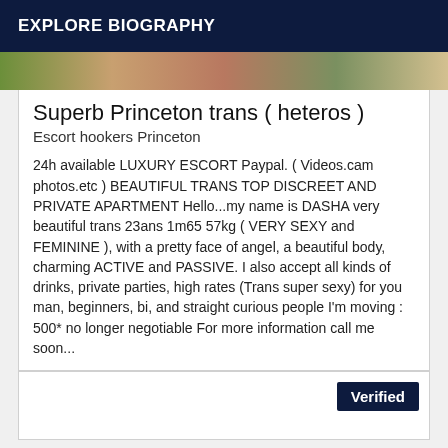EXPLORE BIOGRAPHY
[Figure (photo): Cropped photo strip showing partial images of persons]
Superb Princeton trans ( heteros )
Escort hookers Princeton
24h available LUXURY ESCORT Paypal. ( Videos.cam photos.etc ) BEAUTIFUL TRANS TOP DISCREET AND PRIVATE APARTMENT Hello...my name is DASHA very beautiful trans 23ans 1m65 57kg ( VERY SEXY and FEMININE ), with a pretty face of angel, a beautiful body, charming ACTIVE and PASSIVE. I also accept all kinds of drinks, private parties, high rates (Trans super sexy) for you man, beginners, bi, and straight curious people I'm moving : 500* no longer negotiable For more information call me soon...
Verified